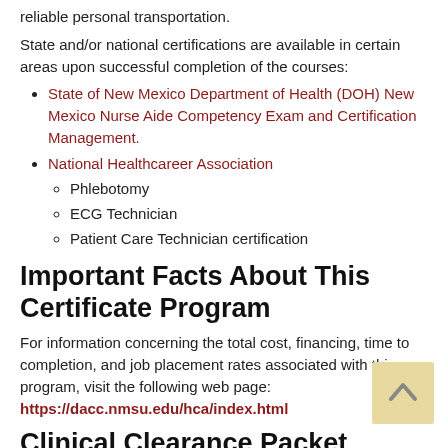reliable personal transportation.
State and/or national certifications are available in certain areas upon successful completion of the courses:
State of New Mexico Department of Health (DOH) New Mexico Nurse Aide Competency Exam and Certification Management.
National Healthcareer Association
Phlebotomy
ECG Technician
Patient Care Technician certification
Important Facts About This Certificate Program
For information concerning the total cost, financing, time to completion, and job placement rates associated with this program, visit the following web page: https://dacc.nmsu.edu/hca/index.html
Clinical Clearance Packet